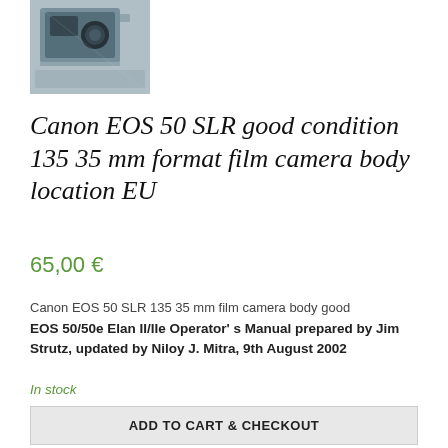[Figure (photo): Product photo of a Canon EOS 50 SLR film camera body]
Canon EOS 50 SLR good condition 135 35 mm format film camera body location EU
65,00 €
Canon EOS 50 SLR 135 35 mm film camera body good
EOS 50/50e Elan II/IIe Operator' s Manual prepared by Jim Strutz, updated by Niloy J. Mitra, 9th August 2002
In stock
ADD TO CART & CHECKOUT